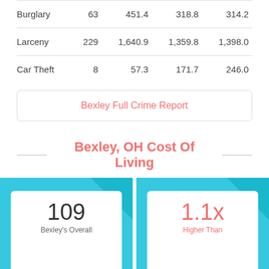|  |  |  |  |  |
| --- | --- | --- | --- | --- |
| Burglary | 63 | 451.4 | 318.8 | 314.2 |
| Larceny | 229 | 1,640.9 | 1,359.8 | 1,398.0 |
| Car Theft | 8 | 57.3 | 171.7 | 246.0 |
Bexley Full Crime Report
Bexley, OH Cost Of Living
[Figure (infographic): Two info cards side by side on cyan background. Left card shows '109' with label 'Bexley's Overall'. Right card shows '1.1x' in red with label 'Higher Than'.]